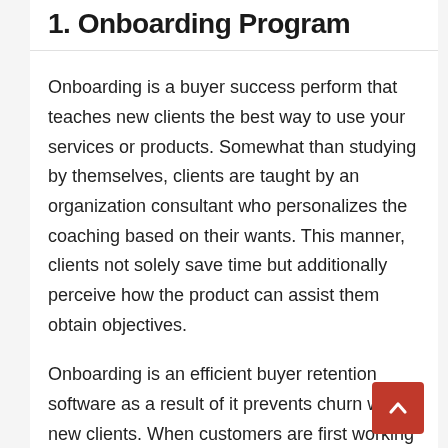1. Onboarding Program
Onboarding is a buyer success perform that teaches new clients the best way to use your services or products. Somewhat than studying by themselves, clients are taught by an organization consultant who personalizes the coaching based on their wants. This manner, clients not solely save time but additionally perceive how the product can assist them obtain objectives.
Onboarding is an efficient buyer retention software as a result of it prevents churn with new clients. When customers are first working together with your product, they could get annoyed if they do not perceive the best way to use it. But a great onboarding program can well...